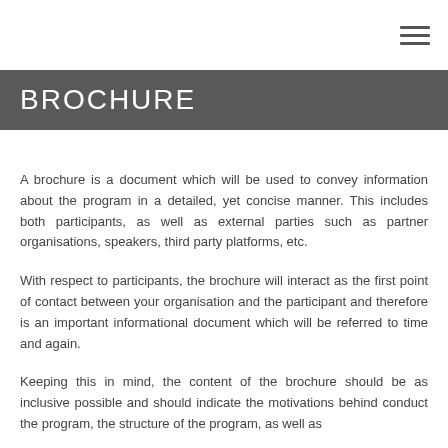≡
BROCHURE
A brochure is a document which will be used to convey information about the program in a detailed, yet concise manner. This includes both participants, as well as external parties such as partner organisations, speakers, third party platforms, etc.
With respect to participants, the brochure will interact as the first point of contact between your organisation and the participant and therefore is an important informational document which will be referred to time and again.
Keeping this in mind, the content of the brochure should be as inclusive possible and should indicate the motivations behind conduct the program, the structure of the program, as well as